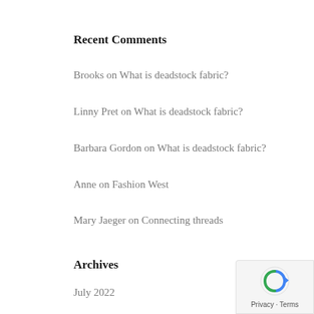Recent Comments
Brooks on What is deadstock fabric?
Linny Pret on What is deadstock fabric?
Barbara Gordon on What is deadstock fabric?
Anne on Fashion West
Mary Jaeger on Connecting threads
Archives
July 2022
April 2022
March 2022
February 2022